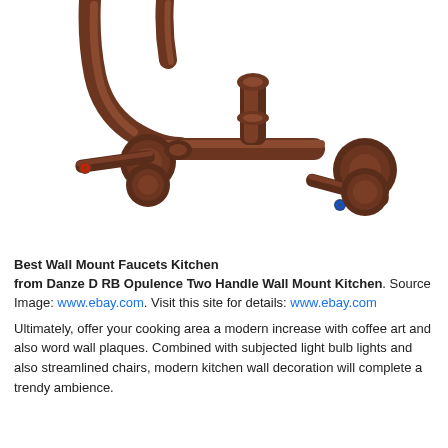[Figure (photo): A bronze/oil-rubbed bronze wall mount kitchen faucet with two handles and a curved spout, shown against a white background.]
Best Wall Mount Faucets Kitchen from Danze D RB Opulence Two Handle Wall Mount Kitchen. Source Image: www.ebay.com. Visit this site for details: www.ebay.com
Ultimately, offer your cooking area a modern increase with coffee art and also word wall plaques. Combined with subjected light bulb lights and also streamlined chairs, modern kitchen wall decoration will complete a trendy ambience.